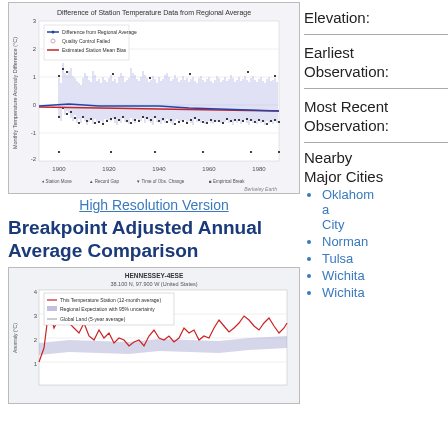[Figure (continuous-plot): Difference of Station Temperature Data from Regional Average. Line chart with blue line (Difference from Regional Average), pink circles (Quality Control Failed), red line (Estimated Station Mean Bias). X-axis: years 1900–1980. Y-axis: Monthly Temperature Anomaly Difference (°C), range -2 to 3. Markers for Station Move, Record Gap, Time of Obs. Change, Empirical Break. Berkeley Earth watermark.]
High Resolution Version
Breakpoint Adjusted Annual Average Comparison
[Figure (continuous-plot): HENNESSEY-4ESE, 36.100 N, 97.900 W (United States). Line chart showing This Temperature Station (12-month average) in red, Regional Expectation with 95% uncertainty in blue/purple shading, Global Land (5-year average) in gray. Y-axis: Anomaly (°C), up to 4.]
Elevation:
Earliest Observation:
Most Recent Observation:
Nearby
Major Cities
Oklahoma City
Norman
Tulsa
Wichita
Wichita